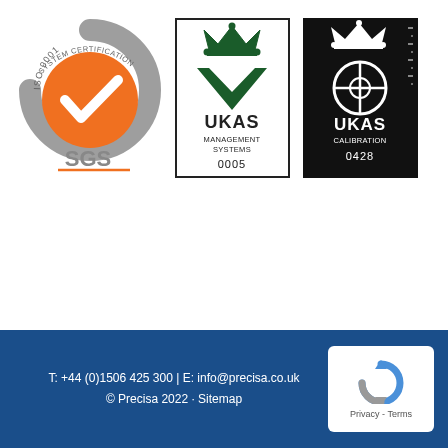[Figure (logo): SGS ISO 9001 System Certification logo — orange circle with white checkmark, grey arc, text ISO 9001 and SGS]
[Figure (logo): UKAS Management Systems accreditation logo — crown above dark green chevron/tick, text UKAS MANAGEMENT SYSTEMS 0005, black border]
[Figure (logo): UKAS Calibration accreditation logo — black background, crown above circular crosshair symbol, text UKAS CALIBRATION 0428]
[Figure (logo): reCAPTCHA Privacy-Terms badge — white box with blue/grey reCAPTCHA circular arrow icon, text Privacy - Terms]
T: +44 (0)1506 425 300 | E: info@precisa.co.uk
© Precisa 2022 · Sitemap